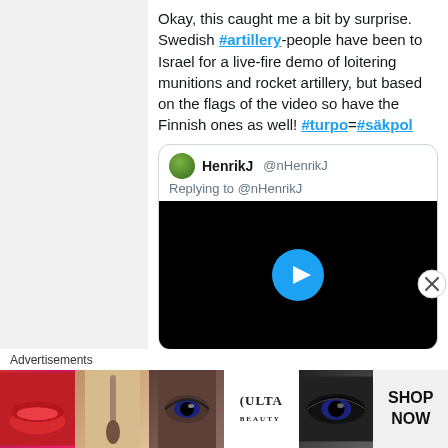Okay, this caught me a bit by surprise. Swedish #artillery-people have been to Israel for a live-fire demo of loitering munitions and rocket artillery, but based on the flags of the video so have the Finnish ones as well! #turpo=#säkpol
HenrikJ @nHenrikJ
Replying to @nHenrikJ
[Figure (screenshot): Video thumbnail with black background and blue play button circle]
[Figure (photo): Advertisement banner showing beauty/makeup products and ULTA beauty brand with SHOP NOW text]